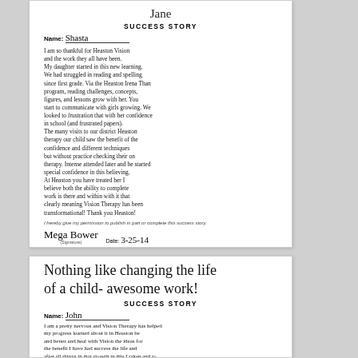[Handwritten signature/name at top of first card]
SUCCESS STORY
Name: Shasta
I am so thankful for Heaston Vision and the work they all have been. My daughter started in this new learning. We had struggled in reading and spelling since first grade. Via the Heaston Irena Thon program, reading challenges, concepts, figures, and lessons grow with her. You start to communicate with girls growing. We looked to frustration that with her confidence in school (and frustrated papers). The many visits to our district Heaston therapy our child saw the benefit of the confidence and different techniques but without practice, checking their own therapy. Intense attended later and he started special confidence in this believing. At Heaston you have treated her I believe both the ability to complete work is there and within with it that clearly meaning Vision Therapy has been transformational! Thank you Heaston!
I hereby give my permission to publish in part or complete this success story.
Signature: Mega Bower   Date: 3-25-14
Nothing like changing the life of a child- awesome work!
SUCCESS STORY
Name: John
I am a pretty nervous and Vision Therapy has helped my progress learned about it in Heaston be and better and heal with Vision the ideas for the benefit I have had success the life and after all things in that growth in this I taken and to advance me is that I on the board is more things.